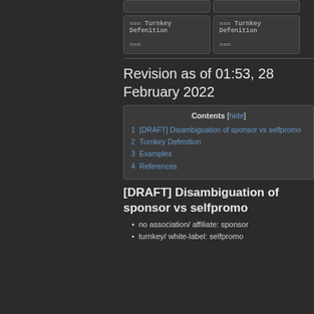[Figure (screenshot): Two empty boxes (top row) and two code boxes showing '=== Turnkey Defenition ===' in monospace font on dark background]
Revision as of 01:53, 28 February 2022
| Contents [hide] |
| --- |
| 1  [DRAFT] Disambiguation of sponsor vs selfpromo |
| 2  Turnkey Defenition |
| 3  Examples |
| 4  References |
[DRAFT] Disambiguation of sponsor vs selfpromo
no association/ affiliate: sponsor
turnkey/ white-label: selfpromo